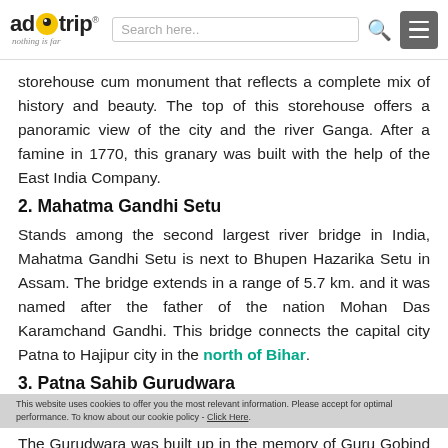adotrip — nothing is far | Search here..
storehouse cum monument that reflects a complete mix of history and beauty. The top of this storehouse offers a panoramic view of the city and the river Ganga. After a famine in 1770, this granary was built with the help of the East India Company.
2. Mahatma Gandhi Setu
Stands among the second largest river bridge in India, Mahatma Gandhi Setu is next to Bhupen Hazarika Setu in Assam. The bridge extends in a range of 5.7 km. and it was named after the father of the nation Mohan Das Karamchand Gandhi. This bridge connects the capital city Patna to Hajipur city in the north of Bihar.
3. Patna Sahib Gurudwara
This website uses cookies to offer you the most relevant information. Please accept for optimal performance. To know about our cookie policy - Click Here.
The Gurudwara was built up in the memory of Guru Gobind Ji because it was his birthplace. Guru Gobind Singh Ji was the 10th and the last guru of Sikhs. Various